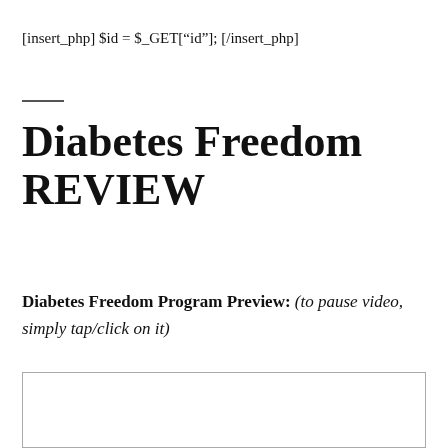[insert_php] $id = $_GET[“id”]; [/insert_php]
Diabetes Freedom REVIEW
Diabetes Freedom Program Preview: (to pause video, simply tap/click on it)
[Figure (other): Empty video player box with a border]